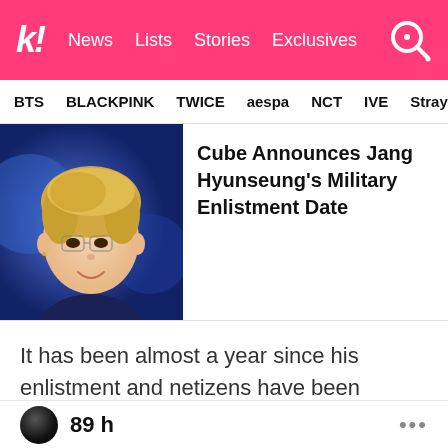k! News Lists Stories Exclusives
BTS BLACKPINK TWICE aespa NCT IVE Stray
[Figure (photo): Photo of Jang Hyunseung with blonde hair, blue lighting background, smiling]
Cube Announces Jang Hyunseung's Military Enlistment Date
It has been almost a year since his enlistment and netizens have been noticing that his face has gotten much brighter. Compared to some pre-enlistment photos in which Hyunseung looks exhausted or not necessarily happy…
89 h ...